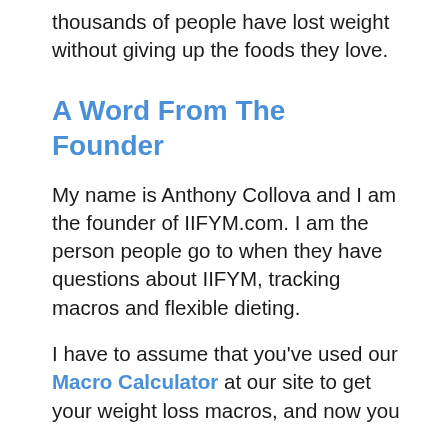thousands of people have lost weight without giving up the foods they love.
A Word From The Founder
My name is Anthony Collova and I am the founder of IIFYM.com. I am the person people go to when they have questions about IIFYM, tracking macros and flexible dieting.
I have to assume that you’ve used our Macro Calculator at our site to get your weight loss macros, and now you